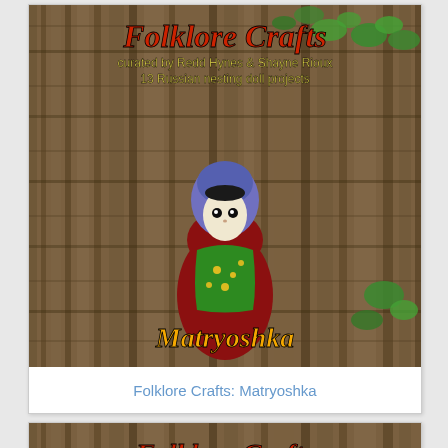[Figure (photo): Book cover for 'Folklore Crafts: Matryoshka' — tree bark background with green leaves, a crocheted matryoshka doll in blue, red, and green, with overlaid text: 'Folklore Crafts' in red italic, 'curated by Redd Hynes & Shayne Rioux', '13 Russian nesting doll projects', and 'Matryoshka' in orange at the bottom.]
Folklore Crafts: Matryoshka
[Figure (photo): Partial book cover for 'Folklore Crafts' — tree bark background with overlaid text: 'Folklore Crafts' in red italic, 'curated by Redd Hynes & Shayne Rioux', '13 folksy projects to make and share' in yellow.]